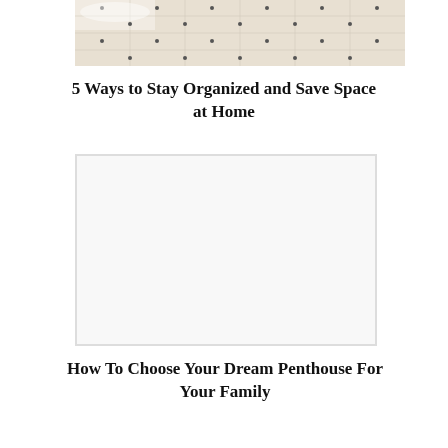[Figure (photo): Marble or tile floor with small dark dot inlays in a light beige/cream patterned surface, viewed from above.]
5 Ways to Stay Organized and Save Space at Home
[Figure (photo): A light gray/white blank rectangular image placeholder area.]
How To Choose Your Dream Penthouse For Your Family